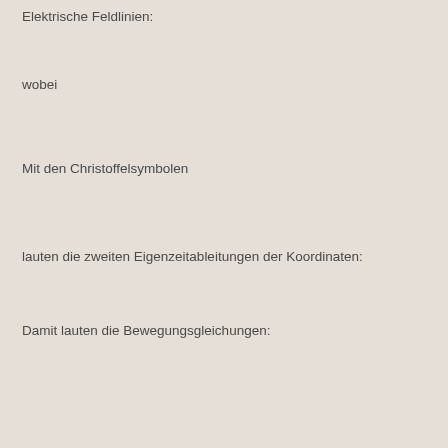Elektrische Feldlinien:
wobei
Mit den Christoffelsymbolen
lauten die zweiten Eigenzeitableitungen der Koordinaten:
Damit lauten die Bewegungsgleichungen: